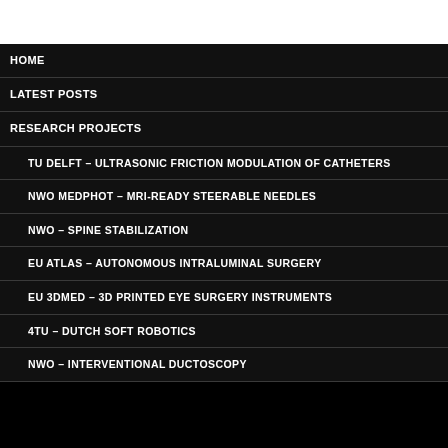HOME
LATEST POSTS
RESEARCH PROJECTS
TU DELFT – ULTRASONIC FRICTION MODULATION OF CATHETERS
NWO MEDPHOT – MRI-READY STEERABLE NEEDLES
NWO – SPINE STABILIZATION
EU ATLAS – AUTONOMOUS INTRALUMINAL SURGERY
EU 3DMED – 3D PRINTED EYE SURGERY INSTRUMENTS
4TU – DUTCH SOFT ROBOTICS
NWO – INTERVENTIONAL DUCTOSCOPY